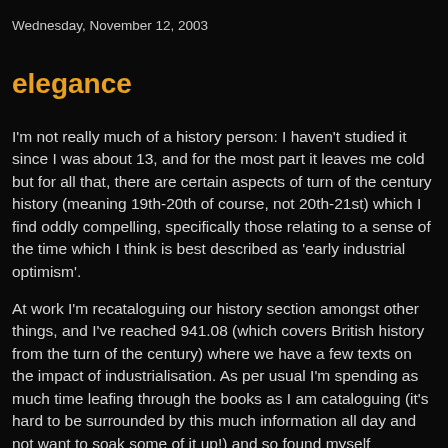Wednesday, November 12, 2003
elegance
I'm not really much of a history person: I haven't studied it since I was about 13, and for the most part it leaves me cold but for all that, there are certain aspects of turn of the century history (meaning 19th-20th of course, not 20th-21st) which I find oddly compelling, specifically those relating to a sense of the time which I think is best described as 'early industrial optimism'.
At work I'm recataloguing our history section amongst other things, and I've reached 941.08 (which covers British history from the turn of the century) where we have a few texts on the impact of industrialisation. As per usual I'm spending as much time leafing through the books as I am cataloguing (it's hard to be surrounded by this much information all day and not want to soak some of it up!) and so found myself skimming an old Open University textbook called